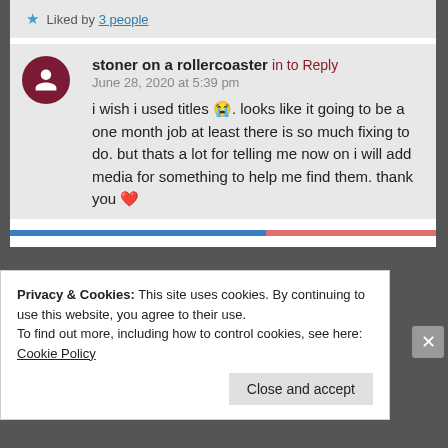★ Liked by 3 people
stoner on a rollercoaster in to Reply
June 28, 2020 at 5:39 pm

i wish i used titles 😭. looks like it going to be a one month job at least there is so much fixing to do. but thats a lot for telling me now on i will add media for something to help me find them. thank you ❤️

★ Liked by 1 person
Privacy & Cookies: This site uses cookies. By continuing to use this website, you agree to their use.
To find out more, including how to control cookies, see here: Cookie Policy

Close and accept